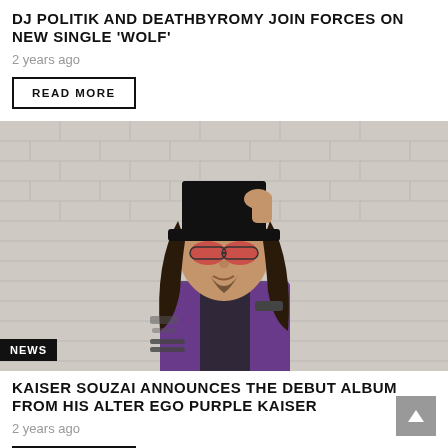DJ POLITIK AND DEATHBYROMY JOIN FORCES ON NEW SINGLE 'WOLF'
2 years ago
READ MORE
[Figure (photo): A rock musician with long dark hair wearing a black top hat and red tinted sunglasses, dressed in a purple shirt, with tattoos on his arm, posing in front of a white brick wall. A 'NEWS' badge is overlaid at the bottom left.]
KAISER SOUZAI ANNOUNCES THE DEBUT ALBUM FROM HIS ALTER EGO PURPLE KAISER
2 years ago
READ MORE